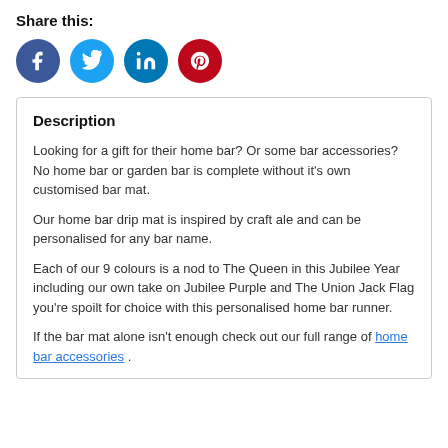Share this:
[Figure (infographic): Four social media share buttons: Facebook (blue circle with f), Twitter (light blue circle with bird), LinkedIn (teal circle with in), Pinterest (red circle with P)]
Description
Looking for a gift for their home bar? Or some bar accessories? No home bar or garden bar is complete without it's own customised bar mat.
Our home bar drip mat is inspired by craft ale and can be personalised for any bar name.
Each of our 9 colours is a nod to The Queen in this Jubilee Year including our own take on Jubilee Purple and The Union Jack Flag you're spoilt for choice with this personalised home bar runner.
If the bar mat alone isn't enough check out our full range of home bar accessories .